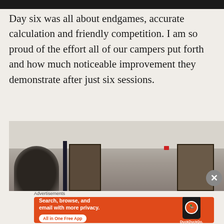[Figure (photo): Dark top bar / header image strip at top of page]
Day six was all about endgames, accurate calculation and friendly competition. I am so proud of the effort all of our campers put forth and how much noticeable improvement they demonstrate after just six sessions.
[Figure (photo): Indoor photo of a room with doors visible and a person's silhouette in the foreground]
Advertisements
[Figure (screenshot): DuckDuckGo advertisement banner: Search, browse, and email with more privacy. All in One Free App. DuckDuckGo.]